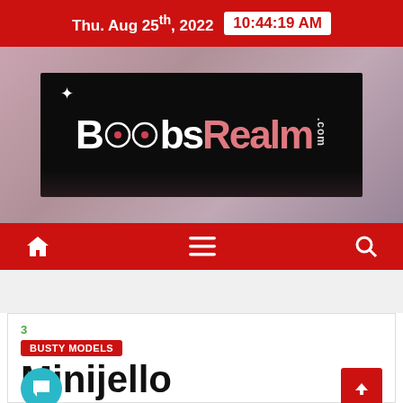Thu. Aug 25th, 2022  10:44:19 AM
[Figure (logo): BoobsRealm.com logo on black background, with circular 'oo' glyphs and sparkle accent]
Navigation bar with home, menu, and search icons
3
BUSTY MODELS
Minijello